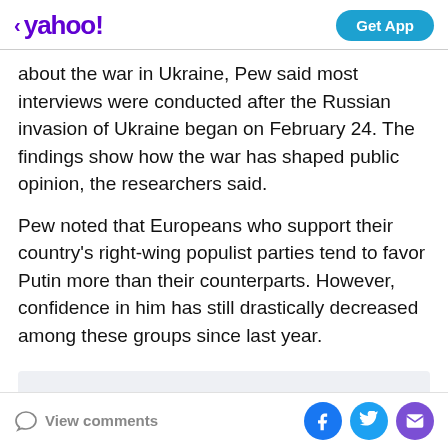yahoo! Get App
about the war in Ukraine, Pew said most interviews were conducted after the Russian invasion of Ukraine began on February 24. The findings show how the war has shaped public opinion, the researchers said.
Pew noted that Europeans who support their country's right-wing populist parties tend to favor Putin more than their counterparts. However, confidence in him has still drastically decreased among these groups since last year.
[Figure (other): Gray advertisement placeholder rectangle]
View comments  [Facebook] [Twitter] [Mail]